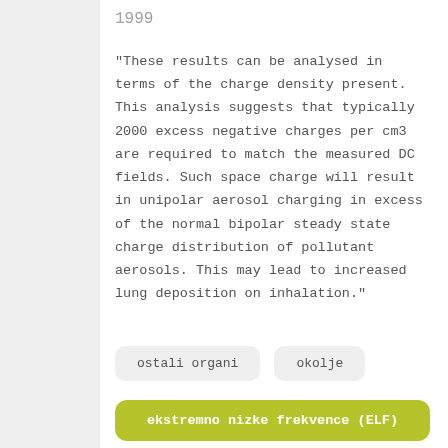1999
"These results can be analysed in terms of the charge density present. This analysis suggests that typically 2000 excess negative charges per cm3 are required to match the measured DC fields. Such space charge will result in unipolar aerosol charging in excess of the normal bipolar steady state charge distribution of pollutant aerosols. This may lead to increased lung deposition on inhalation."
ostali organi
okolje
ekstremno nizke frekvence (ELF)